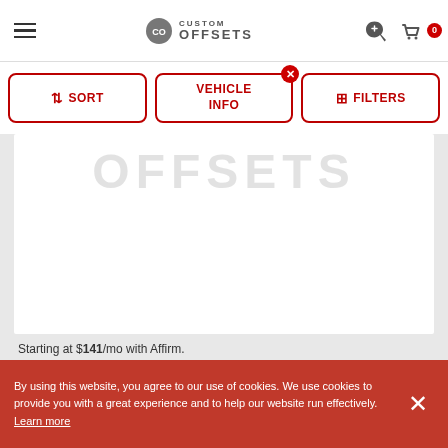Custom Offsets
↕ SORT | VEHICLE INFO (×) | ⫸ FILTERS
[Figure (logo): Custom Offsets watermark logo in gray]
Starting at $141/mo with Affirm.
As low as $201.48/mo with PayPal.
Learn more
McGau... 2008-2010 Ford F-350 (4WD)
FINANCING AVAILABLE
By using this website, you agree to our use of cookies. We use cookies to provide you with a great experience and to help our website run effectively. Learn more